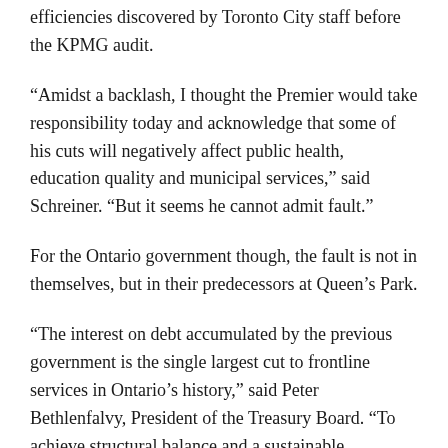efficiencies discovered by Toronto City staff before the KPMG audit.
“Amidst a backlash, I thought the Premier would take responsibility today and acknowledge that some of his cuts will negatively affect public health, education quality and municipal services,” said Schreiner. “But it seems he cannot admit fault.”
For the Ontario government though, the fault is not in themselves, but in their predecessors at Queen’s Park.
“The interest on debt accumulated by the previous government is the single largest cut to frontline services in Ontario’s history,” said Peter Bethlenfalvy, President of the Treasury Board. “To achieve structural balance and a sustainable government, we will put the People at the centre of every service, every regulation, every program, process and policy. We’re ready to help our transfer payment partners and we need their help.”